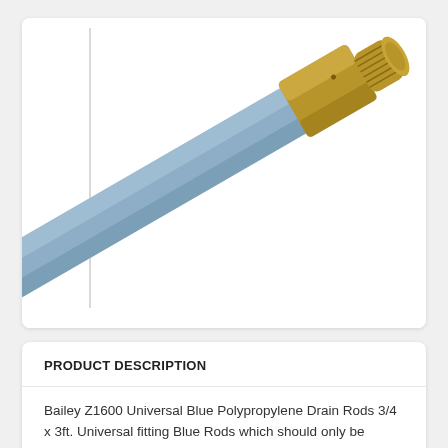[Figure (photo): Close-up photo of a Bailey Z1600 Universal Blue Polypropylene Drain Rod with a brass threaded connector end. The rod is blue/grey coloured with a cylindrical brass fitting at the tip showing screw threads.]
PRODUCT DESCRIPTION
Bailey Z1600 Universal Blue Polypropylene Drain Rods 3/4 x 3ft. Universal fitting Blue Rods which should only be